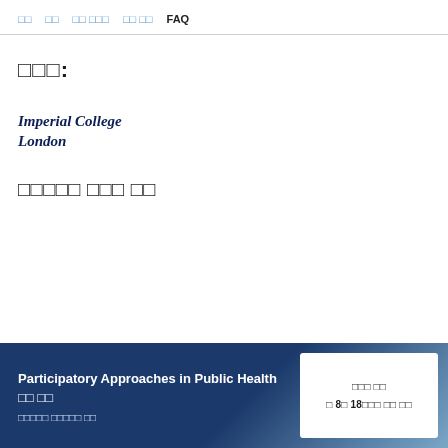□□  □□  □□ □□□  □□ □□  FAQ
□□□:
[Figure (logo): Imperial College London logo text in dark navy bold italic serif font]
□□□□□ □□□ □□
Participatory Approaches in Public Health □□ □□
□□□□□ □□□□□ □□
□□□ □□
□ 8□ 18□□□ □□ □□